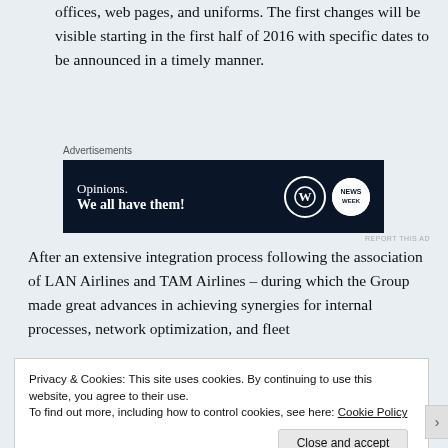offices, web pages, and uniforms. The first changes will be visible starting in the first half of 2016 with specific dates to be announced in a timely manner.
[Figure (screenshot): Advertisement banner with dark navy background showing 'Opinions. We all have them!' text alongside WordPress and news logos]
After an extensive integration process following the association of LAN Airlines and TAM Airlines – during which the Group made great advances in achieving synergies for internal processes, network optimization, and fleet
Privacy & Cookies: This site uses cookies. By continuing to use this website, you agree to their use.
To find out more, including how to control cookies, see here: Cookie Policy

Close and accept